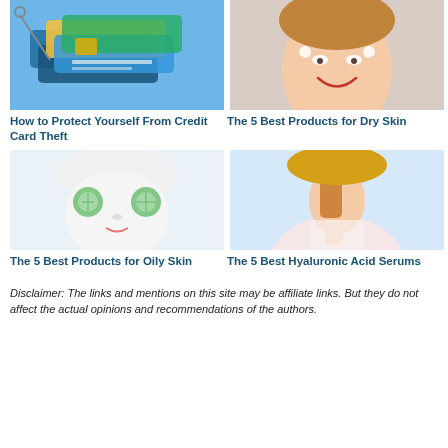[Figure (photo): Photo of credit cards stacked on a surface with scissors]
[Figure (photo): Photo of smiling woman applying cream to her face]
How to Protect Yourself From Credit Card Theft
The 5 Best Products for Dry Skin
[Figure (photo): Photo of woman with face mask holding cucumber slices over her eyes]
[Figure (photo): Photo of woman holding a dropper bottle of serum]
The 5 Best Products for Oily Skin
The 5 Best Hyaluronic Acid Serums
Disclaimer: The links and mentions on this site may be affiliate links. But they do not affect the actual opinions and recommendations of the authors.